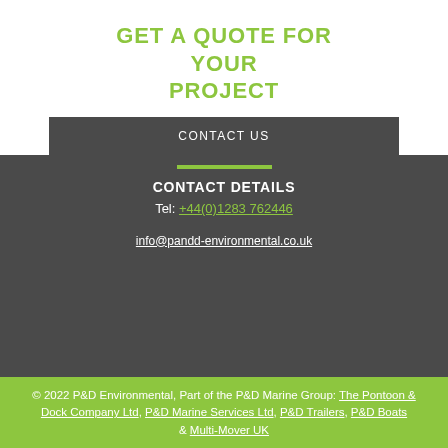GET A QUOTE FOR YOUR PROJECT
CONTACT US
CONTACT DETAILS
Tel: +44(0)1283 762446
info@pandd-environmental.co.uk
© 2022 P&D Environmental, Part of the P&D Marine Group: The Pontoon & Dock Company Ltd, P&D Marine Services Ltd, P&D Trailers, P&D Boats & Multi-Mover UK